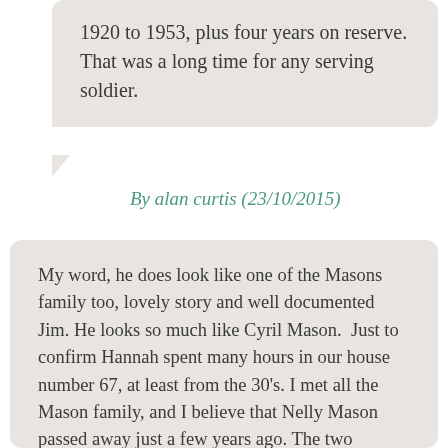1920 to 1953, plus four years on reserve. That was a long time for any serving soldier.
By alan curtis (23/10/2015)
My word, he does look like one of the Masons family too, lovely story and well documented Jim. He looks so much like Cyril Mason.  Just to confirm Hannah spent many hours in our house number 67, at least from the 30's. I met all the Mason family, and I believe that Nelly Mason passed away just a few years ago. The two families thought the world of each other, and Grammar/Hannah, and my Mum were great friends through very difficult times.